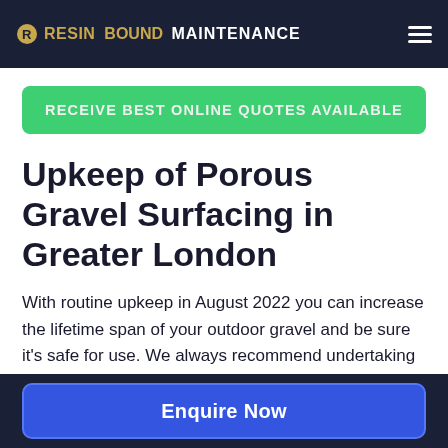RESIN BOUND MAINTENANCE
RECEIVE BEST ONLINE QUOTES AVAILABLE
Upkeep of Porous Gravel Surfacing in Greater London
With routine upkeep in August 2022 you can increase the lifetime span of your outdoor gravel and be sure it's safe for use. We always recommend undertaking maintenance in order to avoid harm instead of once the problems
Enquire Now